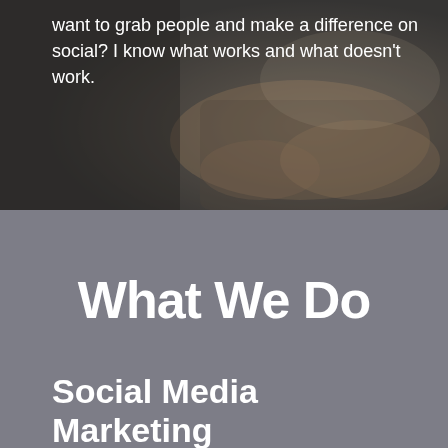[Figure (photo): Background photo of a person's hands working, with a dark overlay creating a moody, professional look]
want to grab people and make a difference on social? I know what works and what doesn't work.
What We Do
Social Media Marketing